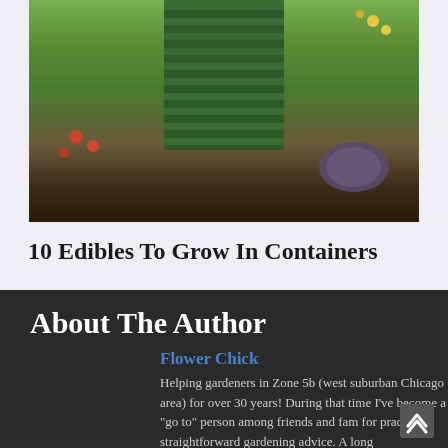[Figure (photo): A garden scene showing various edible plants including tomatoes, leafy greens, purple cabbage, yellow flowers, and a green wooden slatted structure in the background]
10 Edibles To Grow In Containers
About The Author
Flower Chick
Helping gardeners in Zone 5b (west suburban Chicago area) for over 30 years! During that time I've become a "go to" person among friends and fam for practical, straightforward gardening advice. A long